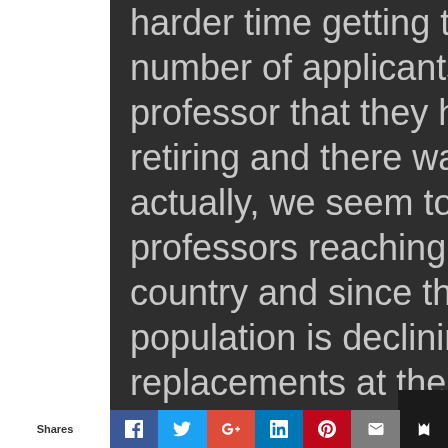harder time getting those letters. A surprisingly high number of applicants received replies that the professor that they had wanted to work with was retiring and there was nobody else in the field – actually, we seem to be in the midst of a wave of professors reaching retirement age all across the country and since the Japanese college-age population is declining, universities are not hiring replacements at the same pace. I think that is one factor both in why many applicants were not able to get LoAs and why MEXT was ultimately unable to place
Shares